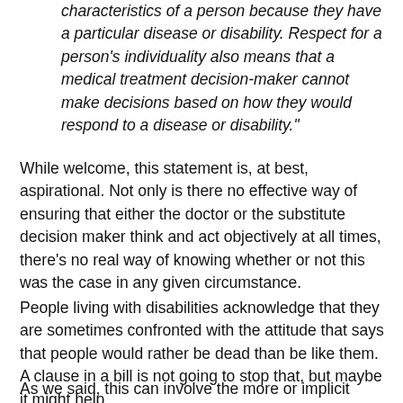characteristics of a person because they have a particular disease or disability. Respect for a person's individuality also means that a medical treatment decision-maker cannot make decisions based on how they would respond to a disease or disability."
While welcome, this statement is, at best, aspirational. Not only is there no effective way of ensuring that either the doctor or the substitute decision maker think and act objectively at all times, there's no real way of knowing whether or not this was the case in any given circumstance.
People living with disabilities acknowledge that they are sometimes confronted with the attitude that says that people would rather be dead than be like them. A clause in a bill is not going to stop that, but maybe it might help.
As we said, this can involve the more or implicit...